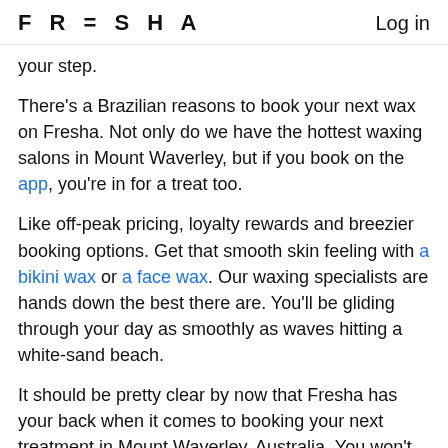FRESHA  Log in
your step.
There's a Brazilian reasons to book your next wax on Fresha. Not only do we have the hottest waxing salons in Mount Waverley, but if you book on the app, you're in for a treat too.
Like off-peak pricing, loyalty rewards and breezier booking options. Get that smooth skin feeling with a bikini wax or a face wax. Our waxing specialists are hands down the best there are. You'll be gliding through your day as smoothly as waves hitting a white-sand beach.
It should be pretty clear by now that Fresha has your back when it comes to booking your next treatment in Mount Waverley, Australia. You won't